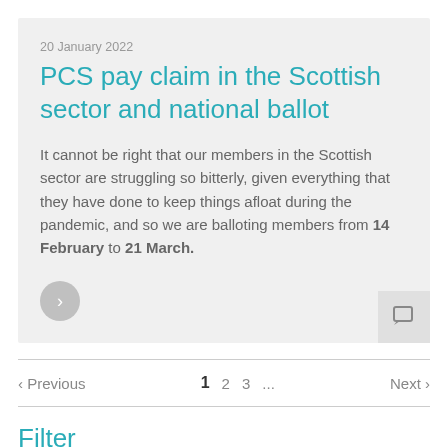20 January 2022
PCS pay claim in the Scottish sector and national ballot
It cannot be right that our members in the Scottish sector are struggling so bitterly, given everything that they have done to keep things afloat during the pandemic, and so we are balloting members from 14 February to 21 March.
‹ Previous  1  2  3  ...  Next ›
Filter